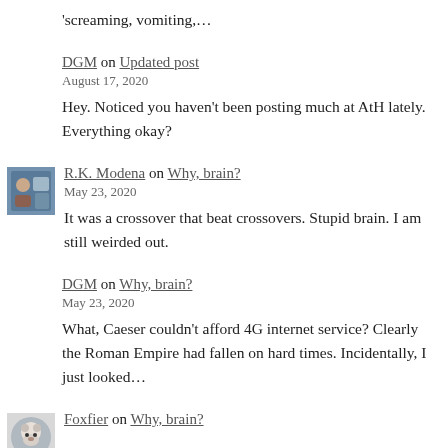'screaming, vomiting,…
DGM on Updated post
August 17, 2020
Hey. Noticed you haven't been posting much at AtH lately. Everything okay?
R.K. Modena on Why, brain?
May 23, 2020
It was a crossover that beat crossovers. Stupid brain. I am still weirded out.
DGM on Why, brain?
May 23, 2020
What, Caeser couldn't afford 4G internet service? Clearly the Roman Empire had fallen on hard times. Incidentally, I just looked…
Foxfier on Why, brain?